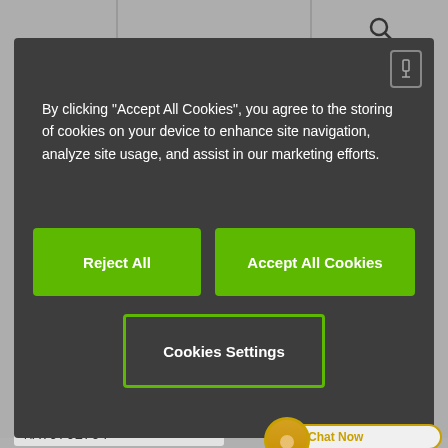[Figure (screenshot): Website background with search icon visible in top right, greyed out behind modal overlay]
By clicking “Accept All Cookies”, you agree to the storing of cookies on your device to enhance site navigation, analyze site usage, and assist in our marketing efforts.
Reject All
Accept All Cookies
Cookies Settings
CFRIP®
chainflex® class: 5.5.2.1
Item no.
MAT9761704
Chat Now